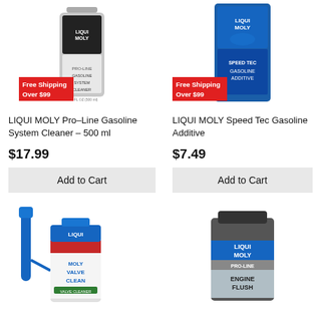[Figure (photo): LIQUI MOLY Pro-Line Gasoline System Cleaner 500ml bottle with Free Shipping Over $99 badge]
[Figure (photo): LIQUI MOLY Speed Tec Gasoline Additive bottle with Free Shipping Over $99 badge]
LIQUI MOLY Pro-Line Gasoline System Cleaner – 500 ml
LIQUI MOLY Speed Tec Gasoline Additive
$17.99
$7.49
Add to Cart
Add to Cart
[Figure (photo): LIQUI MOLY Valve Clean product with blue applicator tool]
[Figure (photo): LIQUI MOLY Pro-Line Engine Flush product can]